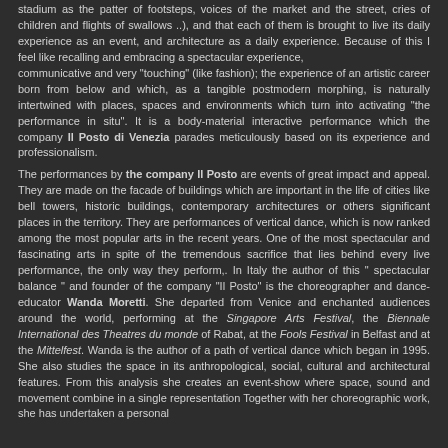stadium as the patter of footsteps, voices of the market and the street, cries of children and flights of swallows ..), and that each of them is brought to live its daily experience as an event, and architecture as a daily experience. Because of this I feel like recalling and embracing a spectacular experience, communicative and very "touching" (like fashion); the experience of an artistic career born from below and which, as a tangible postmodern morphing, is naturally intertwined with places, spaces and environments which turn into activating "the performance in situ". It is a body-material interactive performance which the company Il Posto di Venezia parades meticulously based on its experience and professionalism.
The performances by the company Il Posto are events of great impact and appeal. They are made on the facade of buildings which are important in the life of cities like bell towers, historic buildings, contemporary architectures or others significant places in the territory. They are performances of vertical dance, which is now ranked among the most popular arts in the recent years. One of the most spectacular and fascinating arts in spite of the tremendous sacrifice that lies behind every live performance, the only way they perform,. In Italy the author of this " spectacular balance " and founder of the company “Il Posto” is the choreographer and dance-educator Wanda Moretti. She departed from Venice and enchanted audiences around the world, performing at the Singapore Arts Festival, the Biennale International des Theatres du monde of Rabat, at the Fools Festival in Belfast and at the Mittelfest. Wanda is the author of a path of vertical dance which began in 1995. She also studies the space in its anthropological, social, cultural and architectural features. From this analysis she creates an event-show where space, sound and movement combine in a single representation Together with her choreographic work, she has undertaken a personal